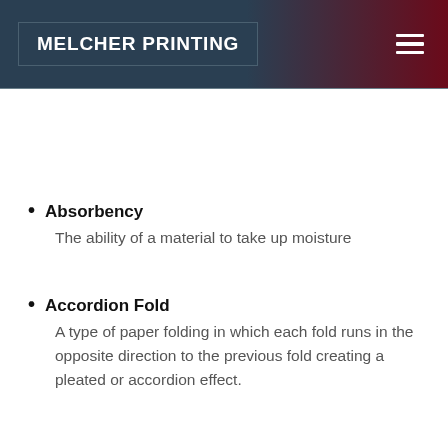MELCHER PRINTING
Absorbency
The ability of a material to take up moisture
Accordion Fold
A type of paper folding in which each fold runs in the opposite direction to the previous fold creating a pleated or accordion effect.
Acetate
A transparent or translucent plastic sheet